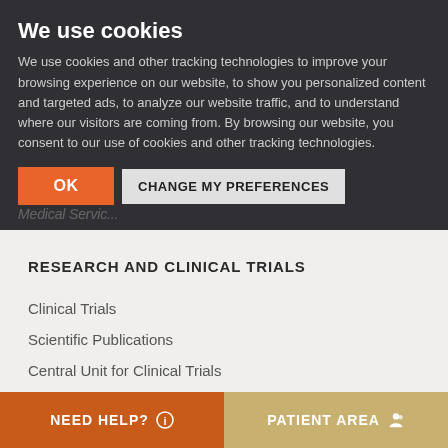We use cookies
We use cookies and other tracking technologies to improve your browsing experience on our website, to show you personalized content and targeted ads, to analyze our website traffic, and to understand where our visitors are coming from. By browsing our website, you consent to our use of cookies and other tracking technologies.
OK | CHANGE MY PREFERENCES
RESEARCH AND CLINICAL TRIALS
Clinical Trials
Scientific Publications
Central Unit for Clinical Trials
NEED HELP?   PATIENT AREA